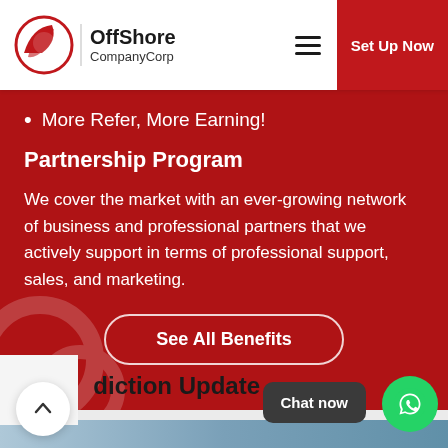OffShore CompanyCorp | Set Up Now
More Refer, More Earning!
Partnership Program
We cover the market with an ever-growing network of business and professional partners that we actively support in terms of professional support, sales, and marketing.
See All Benefits
Jurisdiction Update
Chat now